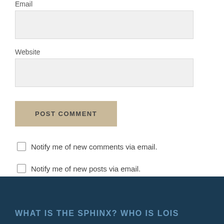Email
Website
POST COMMENT
Notify me of new comments via email.
Notify me of new posts via email.
WHAT IS THE SPHINX? WHO IS LOIS